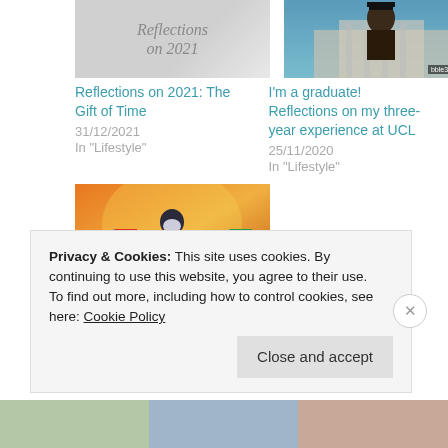[Figure (photo): Thumbnail image with cursive text 'Reflections on 2021' on grey background]
Reflections on 2021: The Gift of Time
31/12/2021
In "Lifestyle"
[Figure (photo): Thumbnail photo of a smiling graduate in cap and gown in front of a building, with a yellow ribbon and bble332.com watermark]
I'm a graduate! Reflections on my three-year experience at UCL
25/11/2020
In "Lifestyle"
[Figure (illustration): Illustrated image showing protest scene with figures in capes and masks, banner text #EndSARS at bottom]
#EndSARS Part 1: Seven Stages of the Protests in
Privacy & Cookies: This site uses cookies. By continuing to use this website, you agree to their use.
To find out more, including how to control cookies, see here: Cookie Policy
Close and accept